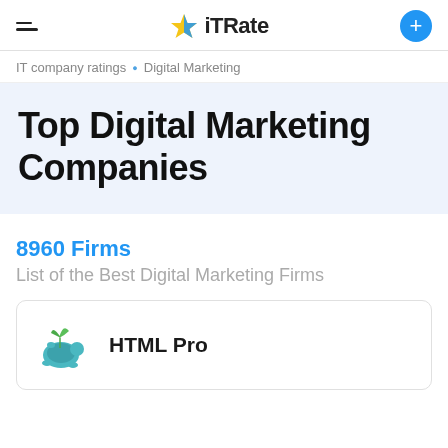iTRate
IT company ratings • Digital Marketing
Top Digital Marketing Companies
8960 Firms
List of the Best Digital Marketing Firms
HTML Pro